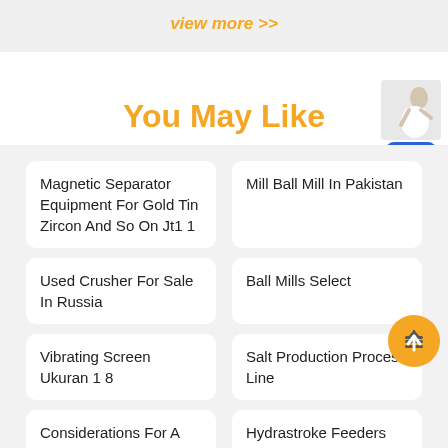view more >>
You May Like
Magnetic Separator Equipment For Gold Tin Zircon And So On Jt1 1
Mill Ball Mill In Pakistan
Used Crusher For Sale In Russia
Ball Mills Select
Vibrating Screen Ukuran 1 8
Salt Production Process Line
Considerations For A Cone Crushers
Hydrastroke Feeders Boiler